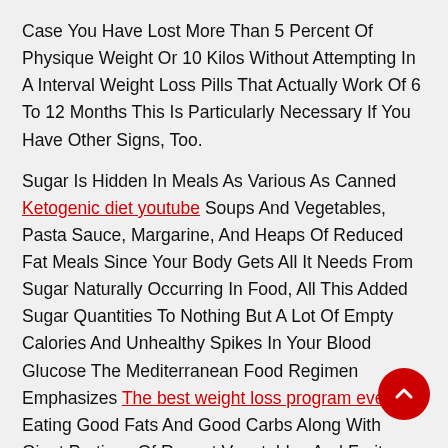Case You Have Lost More Than 5 Percent Of Physique Weight Or 10 Kilos Without Attempting In A Interval Weight Loss Pills That Actually Work Of 6 To 12 Months This Is Particularly Necessary If You Have Other Signs, Too.
Sugar Is Hidden In Meals As Various As Canned Ketogenic diet youtube Soups And Vegetables, Pasta Sauce, Margarine, And Heaps Of Reduced Fat Meals Since Your Body Gets All It Needs From Sugar Naturally Occurring In Food, All This Added Sugar Quantities To Nothing But A Lot Of Empty Calories And Unhealthy Spikes In Your Blood Glucose The Mediterranean Food Regimen Emphasizes The best weight loss program ever Eating Good Fats And Good Carbs Along With Giant Portions Of Recent Vegetables And Fruits, Nuts, Fish, And Olive Oil And Solely Modest Quantities Of Meat And Che The Mediterranean Food Regimen Is More Weight Loss Clinic